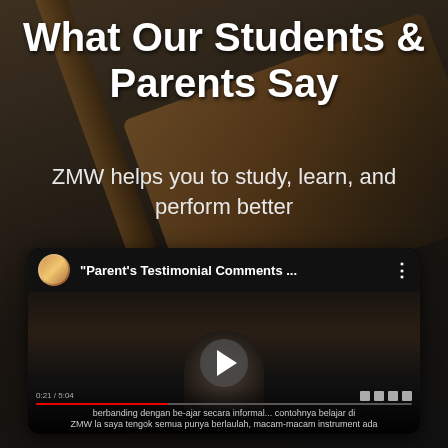What Our Students & Parents Say
ZMW helps you to study, learn, and perform better
[Figure (screenshot): YouTube video embed showing a testimonial video titled "Parent's Testimonial Comments ..." with a channel icon, play button, and Indonesian subtitles reading: 'berbanding dengan be-ajar secara informal... contohnya belajar di ZMW la saya tengok semua punya berlaulah, macam-macam instrument ada']